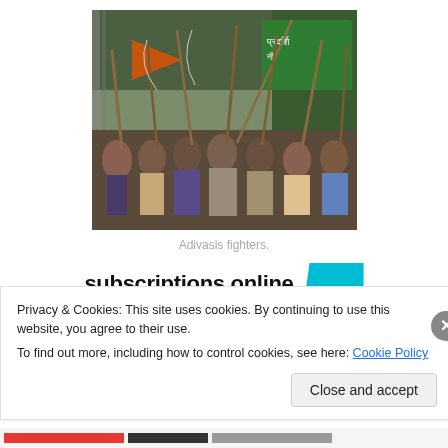[Figure (photo): Group of Adivasi people holding sticks and bows raised in the air, standing outdoors near a gate with trees and Hindi signage in the background.]
Adivasis fighters.
subscriptions online
Privacy & Cookies: This site uses cookies. By continuing to use this website, you agree to their use.
To find out more, including how to control cookies, see here: Cookie Policy
Close and accept